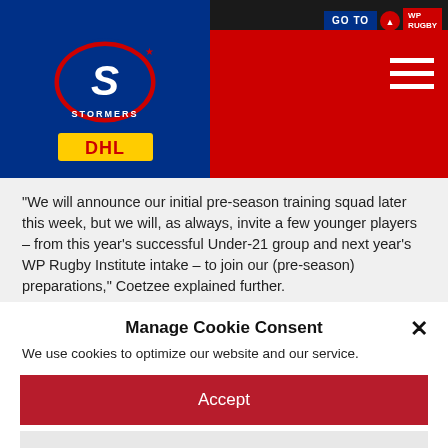[Figure (screenshot): Stormers rugby website header with blue logo area on left showing Stormers logo and DHL sponsor logo, red area on right, dark top bar with GO TO navigation and hamburger menu icon]
“We will announce our initial pre-season training squad later this week, but we will, as always, invite a few younger players – from this year’s successful Under-21 group and next year’s WP Rugby Institute intake – to join our (pre-season) preparations,” Coetzee explained further.
“Springbok touring squad members like Frans Malherbe, Scarra Ntubeni, Siya Kolisi, Louis Schreuder and Gio Aplon will miss the first
Manage Cookie Consent
We use cookies to optimize our website and our service.
Accept
Deny